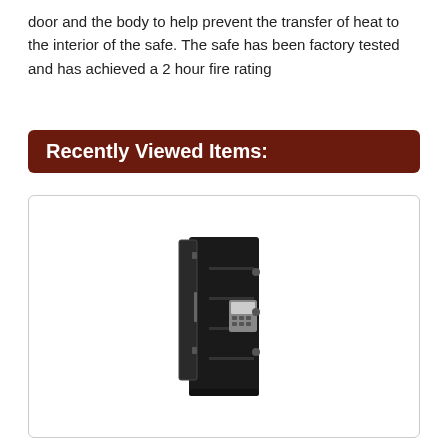door and the body to help prevent the transfer of heat to the interior of the safe. The safe has been factory tested and has achieved a 2 hour fire rating
Recently Viewed Items:
[Figure (photo): Photo of a tall black fire-rated safe with an open door showing the interior shelves and an electronic keypad lock on the front.]